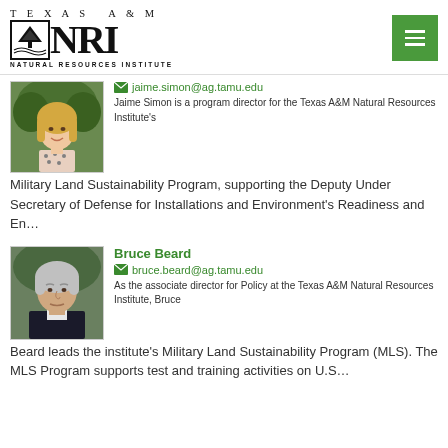[Figure (logo): Texas A&M NRI Natural Resources Institute logo with tree/landscape icon]
jaime.simon@ag.tamu.edu
Jaime Simon is a program director for the Texas A&M Natural Resources Institute's Military Land Sustainability Program, supporting the Deputy Under Secretary of Defense for Installations and Environment's Readiness and En...
Bruce Beard
bruce.beard@ag.tamu.edu
As the associate director for Policy at the Texas A&M Natural Resources Institute, Bruce Beard leads the institute's Military Land Sustainability Program (MLS). The MLS Program supports test and training activities on U.S...